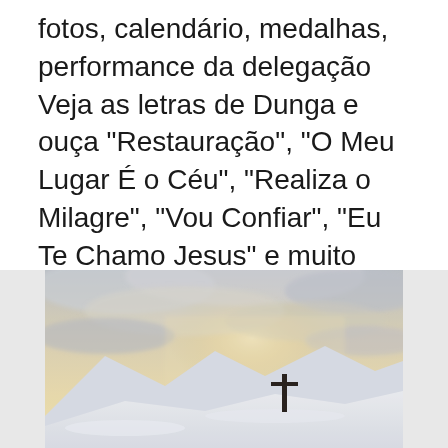fotos, calendário, medalhas, performance da delegação  Veja as letras de Dunga e ouça "Restauração", "O Meu Lugar É o Céu", "Realiza o Milagre", "Vou Confiar", "Eu Te Chamo Jesus" e muito mais músicas! 22 Ags 2017 27 jawaban. 4.2 rb orang terbantu. arti dunga adalah gadungan. e3radg8 dan 27 orang menganggap jawaban ini membantu.
[Figure (photo): A dramatic winter landscape showing a snow-covered mountain summit with a lone cross silhouetted against a bright, hazy sky with clouds. The scene has a warm golden-white light emanating from behind the clouds.]